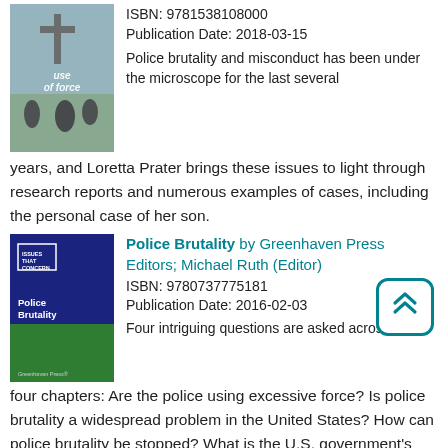[Figure (illustration): Book cover for 'Use of Force' showing a cross and silhouetted figures in a field]
ISBN: 9781538108000
Publication Date: 2018-03-15
Police brutality and misconduct has been under the microscope for the last several years, and Loretta Prater brings these issues to light through research reports and numerous examples of cases, including the personal case of her son.
[Figure (illustration): Book cover for 'Police Brutality' by Greenhaven Press, dark blue and green cover]
Police Brutality by Greenhaven Press Editors; Michael Ruth (Editor)
ISBN: 9780737775181
Publication Date: 2016-02-03
Four intriguing questions are asked across four chapters: Are the police using excessive force? Is police brutality a widespread problem in the United States? How can police brutality be stopped? What is the U.S. government's response to police brutality?